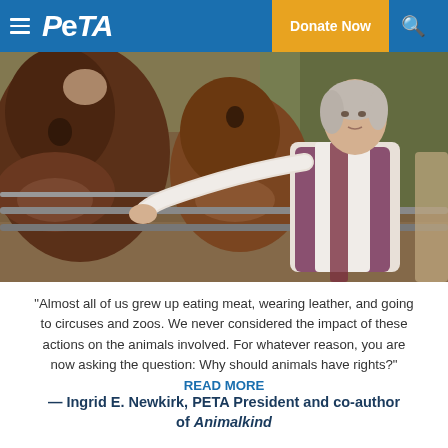PETA — Donate Now
[Figure (photo): A woman with short grey hair wearing a white shirt and purple patterned vest reaching through metal fence railings to touch the nose of a large brown cow. Several brown cows are visible on the left side.]
“Almost all of us grew up eating meat, wearing leather, and going to circuses and zoos. We never considered the impact of these actions on the animals involved. For whatever reason, you are now asking the question: Why should animals have rights?” READ MORE
— Ingrid E. Newkirk, PETA President and co-author of Animalkind